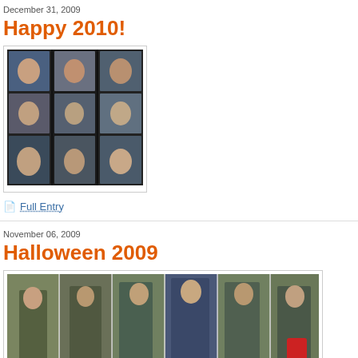December 31, 2009
Happy 2010!
[Figure (photo): Photo collage with multiple small portraits arranged vertically on dark background]
Full Entry
November 06, 2009
Halloween 2009
[Figure (photo): Group of people in Halloween costumes posing outdoors in a horizontal strip of photos]
The election and MLB World Series are now officially over, and everyone has adjusted to the time change. Finally, we feel at liberty to turn our a